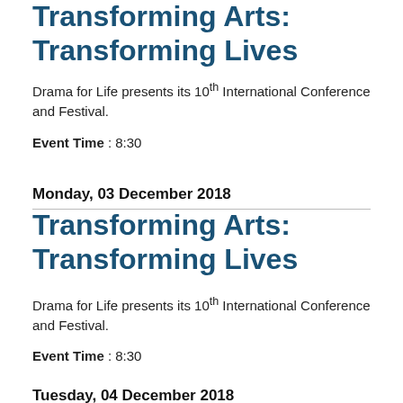Transforming Arts: Transforming Lives
Drama for Life presents its 10th International Conference and Festival.
Event Time : 8:30
Monday, 03 December 2018
Transforming Arts: Transforming Lives
Drama for Life presents its 10th International Conference and Festival.
Event Time : 8:30
Tuesday, 04 December 2018